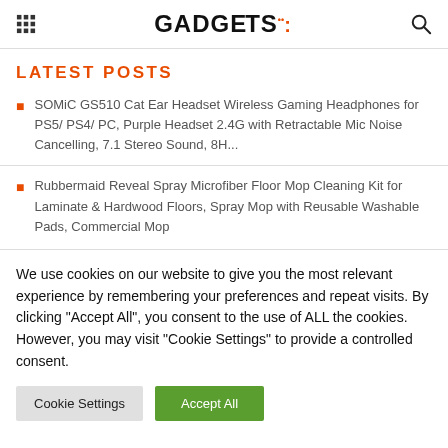GADGETS
LATEST POSTS
SOMiC GS510 Cat Ear Headset Wireless Gaming Headphones for PS5/ PS4/ PC, Purple Headset 2.4G with Retractable Mic Noise Cancelling, 7.1 Stereo Sound, 8H...
Rubbermaid Reveal Spray Microfiber Floor Mop Cleaning Kit for Laminate & Hardwood Floors, Spray Mop with Reusable Washable Pads, Commercial Mop
We use cookies on our website to give you the most relevant experience by remembering your preferences and repeat visits. By clicking "Accept All", you consent to the use of ALL the cookies. However, you may visit "Cookie Settings" to provide a controlled consent.